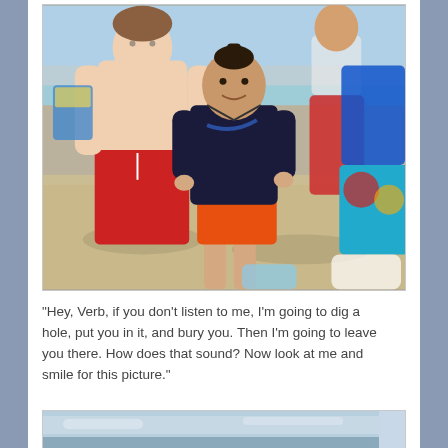[Figure (photo): Group of children standing on a beach in swimwear. Center child wears a dark navy shirt and orange shorts. Left child wears red swim trunks without a shirt. Other children visible in colorful swimwear on the right. Sandy beach background.]
“Hey, Verb, if you don’t listen to me, I’m going to dig a hole, put you in it, and bury you. Then I’m going to leave you there. How does that sound? Now look at me and smile for this picture.”
[Figure (photo): Partial view of a beach scene showing sky and ocean horizon, very light blue tones.]